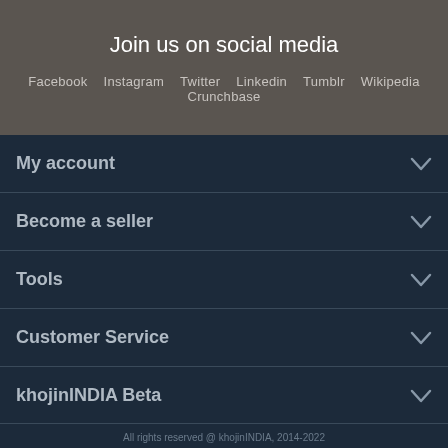Join us on social media
Facebook  Instagram  Twitter  Linkedin  Tumblr  Wikipedia  Crunchbase
My account
Become a seller
Tools
Customer Service
khojinINDIA Beta
All rights reserved @ khojinINDIA, 2014-2022